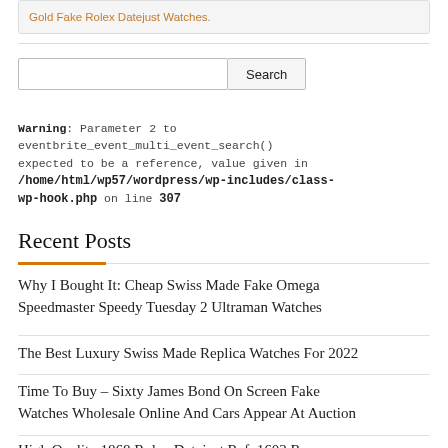Gold Fake Rolex Datejust Watches.
Warning: Parameter 2 to eventbrite_event_multi_event_search() expected to be a reference, value given in /home/html/wp57/wordpress/wp-includes/class-wp-hook.php on line 307
Recent Posts
Why I Bought It: Cheap Swiss Made Fake Omega Speedmaster Speedy Tuesday 2 Ultraman Watches
The Best Luxury Swiss Made Replica Watches For 2022
Time To Buy – Sixty James Bond On Screen Fake Watches Wholesale Online And Cars Appear At Auction
High Quality 1868 Rolex Datejust Ref. 1603 Replica...